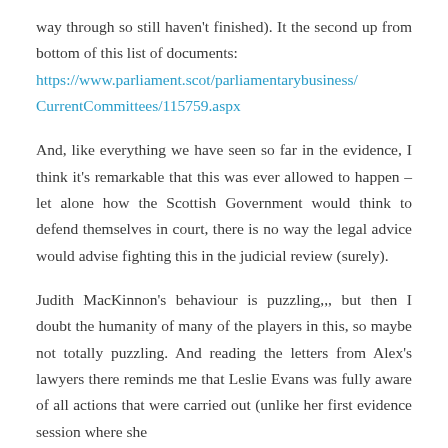way through so still haven't finished). It the second up from bottom of this list of documents: https://www.parliament.scot/parliamentarybusiness/CurrentCommittees/115759.aspx
And, like everything we have seen so far in the evidence, I think it's remarkable that this was ever allowed to happen – let alone how the Scottish Government would think to defend themselves in court, there is no way the legal advice would advise fighting this in the judicial review (surely).
Judith MacKinnon's behaviour is puzzling,,, but then I doubt the humanity of many of the players in this, so maybe not totally puzzling. And reading the letters from Alex's lawyers there reminds me that Leslie Evans was fully aware of all actions that were carried out (unlike her first evidence session where she